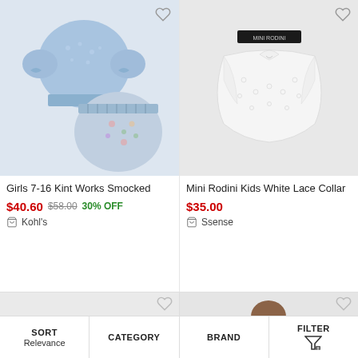[Figure (photo): Blue smocked top and floral skirt set for girls]
[Figure (photo): Mini Rodini white lace collar accessory]
Girls 7-16 Kint Works Smocked
$40.60  $58.00  30% OFF
Kohl's
Mini Rodini Kids White Lace Collar
$35.00
Ssense
SORT Relevance  CATEGORY  BRAND  FILTER